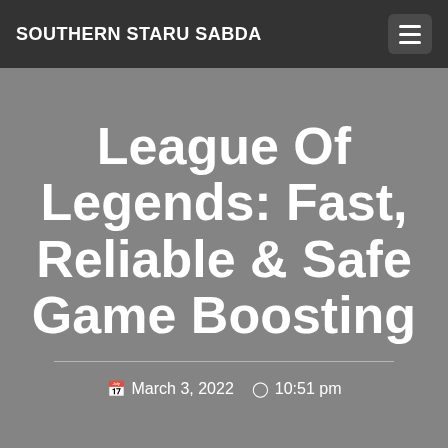SOUTHERN STARU SABDA
League Of Legends: Fast, Reliable & Safe Game Boosting
March 3, 2022  10:51 pm